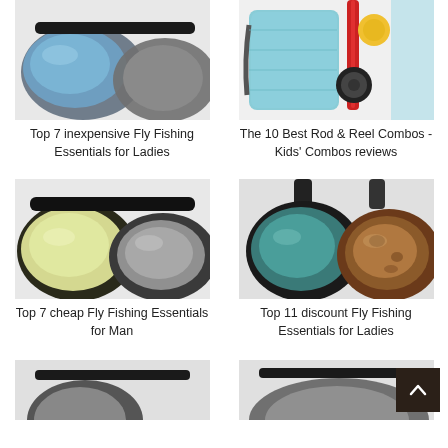[Figure (photo): Close-up of fly fishing sunglasses/lenses with blue-tinted lens, top-left card]
Top 7 inexpensive Fly Fishing Essentials for Ladies
[Figure (photo): Kids fishing rod and reel combo with colorful tackle bag, top-right card]
The 10 Best Rod & Reel Combos - Kids' Combos reviews
[Figure (photo): Close-up of yellow and grey fly fishing sunglasses lenses, bottom-left card]
Top 7 cheap Fly Fishing Essentials for Man
[Figure (photo): Close-up of teal/brown fly fishing sunglasses with tortoiseshell frame, bottom-right card]
Top 11 discount Fly Fishing Essentials for Ladies